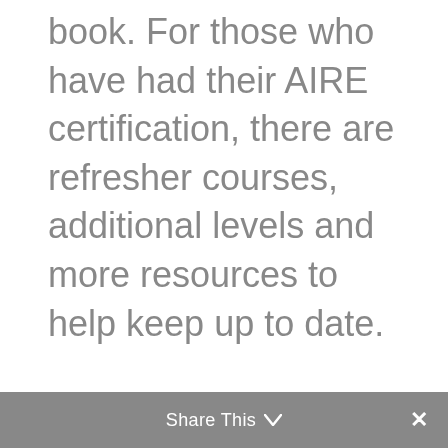book. For those who have had their AIRE certification, there are refresher courses, additional levels and more resources to help keep up to date.
Share This ∨  ✕